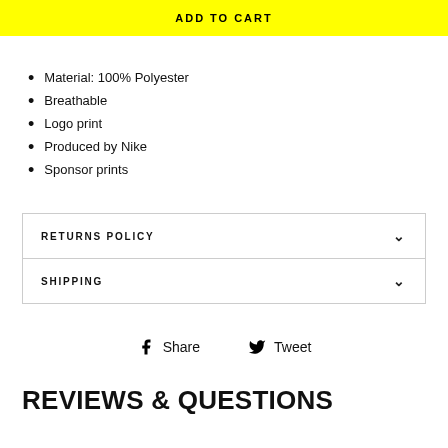ADD TO CART
Material: 100% Polyester
Breathable
Logo print
Produced by Nike
Sponsor prints
RETURNS POLICY
SHIPPING
Share
Tweet
REVIEWS & QUESTIONS